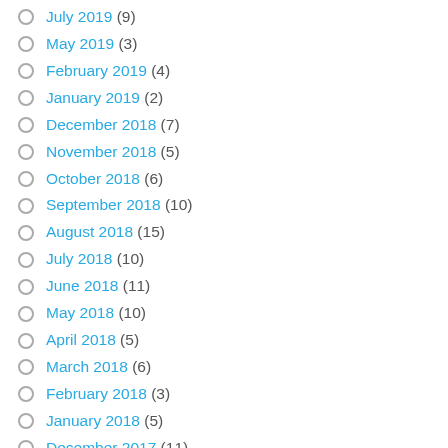July 2019 (9)
May 2019 (3)
February 2019 (4)
January 2019 (2)
December 2018 (7)
November 2018 (5)
October 2018 (6)
September 2018 (10)
August 2018 (15)
July 2018 (10)
June 2018 (11)
May 2018 (10)
April 2018 (5)
March 2018 (6)
February 2018 (3)
January 2018 (5)
December 2017 (11)
November 2017 (10)
October 2017 (10)